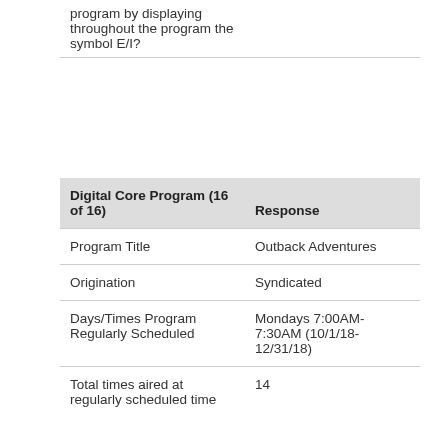|  |  |
| --- | --- |
| program by displaying throughout the program the symbol E/I? |  |
| Digital Core Program (16 of 16) | Response |
| --- | --- |
| Program Title | Outback Adventures |
| Origination | Syndicated |
| Days/Times Program Regularly Scheduled | Mondays 7:00AM-7:30AM (10/1/18-12/31/18) |
| Total times aired at regularly scheduled time | 14 |